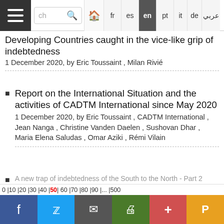Navigation bar with hamburger menu, search box, language selector (fr, es, en, pt, it, de, Arabic), home icon. 'en' is active.
Developing Countries caught in the vice-like grip of indebtedness
1 December 2020, by Eric Toussaint , Milan Rivié
Report on the International Situation and the activities of CADTM International since May 2020
1 December 2020, by Eric Toussaint , CADTM International , Jean Nanga , Christine Vanden Daelen , Sushovan Dhar , Maria Elena Saludas , Omar Aziki , Rémi Vilain
A new trap of indebtedness of the South to the North - Part 2
Threats over the external debt of Developing Countries
27 November 2020, by Eric Toussaint , Milan Rivié
Pagination: 0 | 10 | 20 | 30 | 40 | 50 | 60 | 70 | 80 | 90 | ... | 500
Social share bar: Facebook, Twitter, Email, Print, +, Pocket